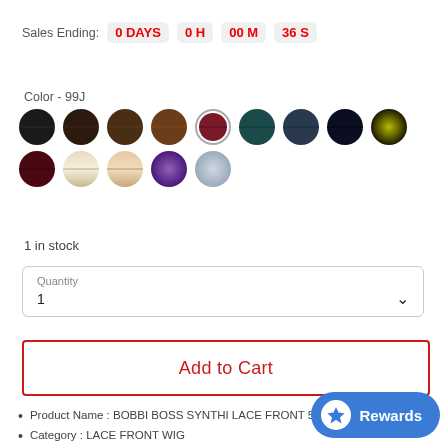Sales Ending: 0 DAYS  0 H  00 M  36 S
Color - 99J
[Figure (other): Color swatches for hair wig product - two rows of circular color swatches. Row 1: black, dark brown, medium brown, tan/brown, burgundy/99J (selected with border), teal, dark blue-gray, navy, olive-yellow. Row 2: dark red/burgundy, blonde/light, light peach/blonde, purple, silver/gray]
1 in stock
Quantity
1
Add to Cart
Product Name : BOBBI BOSS SYNTHI LACE FRONT 5" DEEP PART WIG LY
Category : LACE FRONT WIG